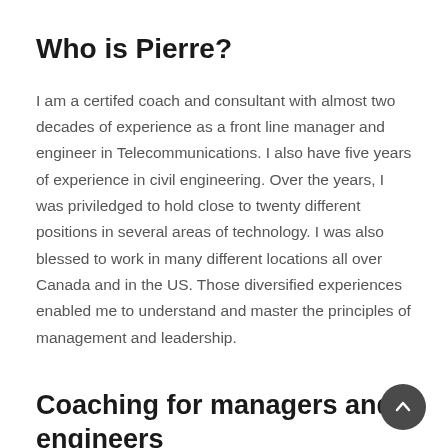Who is Pierre?
I am a certifed coach and consultant with almost two decades of experience as a front line manager and engineer in Telecommunications. I also have five years of experience in civil engineering. Over the years, I was priviledged to hold close to twenty different positions in several areas of technology. I was also blessed to work in many different locations all over Canada and in the US. Those diversified experiences enabled me to understand and master the principles of management and leadership.
Coaching for managers and engineers